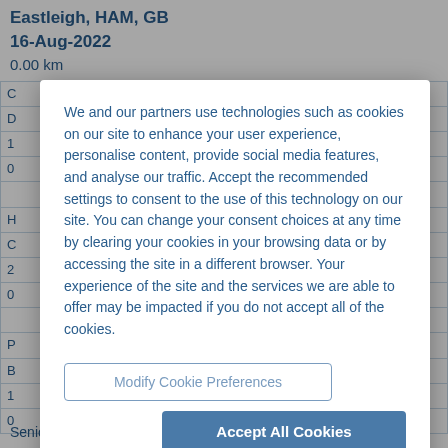Eastleigh, HAM, GB
16-Aug-2022
0.00 km
We and our partners use technologies such as cookies on our site to enhance your user experience, personalise content, provide social media features, and analyse our traffic. Accept the recommended settings to consent to the use of this technology on our site. You can change your consent choices at any time by clearing your cookies in your browsing data or by accessing the site in a different browser. Your experience of the site and the services we are able to offer may be impacted if you do not accept all of the cookies.
Modify Cookie Preferences
Accept All Cookies
Senior Social Worker, North East Learning Disability